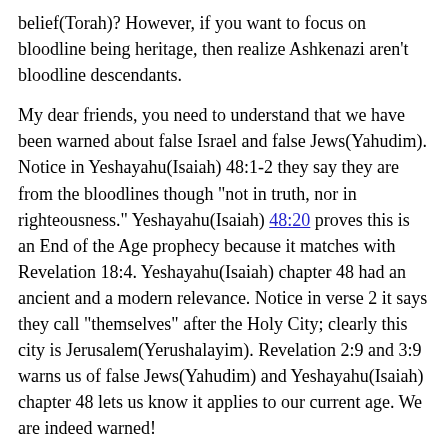belief(Torah)? However, if you want to focus on bloodline being heritage, then realize Ashkenazi aren't bloodline descendants.
My dear friends, you need to understand that we have been warned about false Israel and false Jews(Yahudim). Notice in Yeshayahu(Isaiah) 48:1-2 they say they are from the bloodlines though "not in truth, nor in righteousness." Yeshayahu(Isaiah) 48:20 proves this is an End of the Age prophecy because it matches with Revelation 18:4. Yeshayahu(Isaiah) chapter 48 had an ancient and a modern relevance. Notice in verse 2 it says they call "themselves" after the Holy City; clearly this city is Jerusalem(Yerushalayim). Revelation 2:9 and 3:9 warns us of false Jews(Yahudim) and Yeshayahu(Isaiah) chapter 48 lets us know it applies to our current age. We are indeed warned!
Yahushua(Y'shua)—Christians call Him Jesus—came here and defied the Pharisees and Sadducees. Guess what religion the Pharisees and Sadducees practice? Judaism; a religion that has deviated from scripture. Judaism teaches its compilation books called the Talmud are above the works of Mosheh(Moses) and the other prophets, because they claim to have proper "interpretations" of scripture. Messiah warned